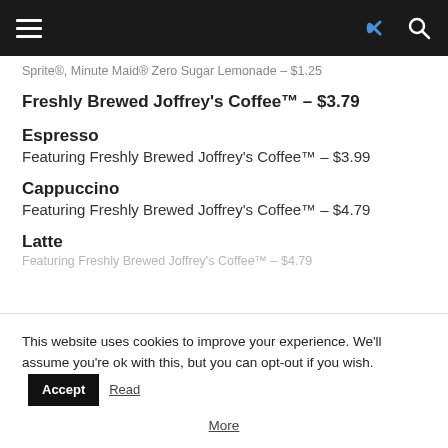Navigation bar with hamburger menu, share icon, and search icon
Sprite®, Minute Maid® Zero Sugar Lemonade – $1.25
Freshly Brewed Joffrey's Coffee™ – $3.79
Espresso
Featuring Freshly Brewed Joffrey's Coffee™ – $3.99
Cappuccino
Featuring Freshly Brewed Joffrey's Coffee™ – $4.79
Latte
Featuring Freshly Brewed Joffrey's Coffee™ – $4.79
This website uses cookies to improve your experience. We'll assume you're ok with this, but you can opt-out if you wish.
Accept | Read More